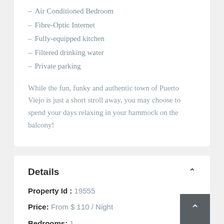– Air Conditioned Bedroom
– Fibre-Optic Internet
– Fully-equipped kitchen
– Filtered drinking water
– Private parking
While the fun, funky and authentic town of Puerto Viejo is just a short stroll away, you may choose to spend your days relaxing in your hammock on the balcony!
Details
Property Id : 19555
Price: From $ 110 / Night
Bedrooms: 1